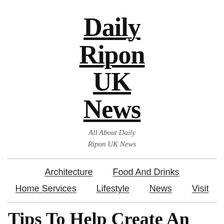Daily Ripon UK News
All About Daily Ripon UK News
Architecture | Food And Drinks | Home Services | Lifestyle | News | Visit
Tips To Help Create An